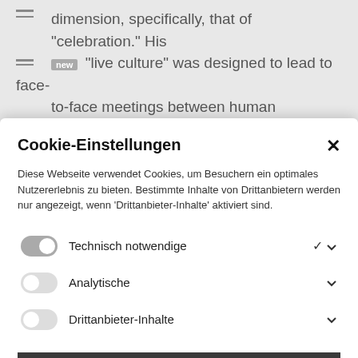dimension, specifically, that of "celebration." His new "live culture" was designed to lead to face-to-face meetings between human beings, intensive quasi-theatrical workshops were...
Cookie-Einstellungen
Diese Webseite verwendet Cookies, um Besuchern ein optimales Nutzererlebnis zu bieten. Bestimmte Inhalte von Drittanbietern werden nur angezeigt, wenn 'Drittanbieter-Inhalte' aktiviert sind.
Technisch notwendige
Analytische
Drittanbieter-Inhalte
ALLE AKZEPTIEREN
SPEICHERN